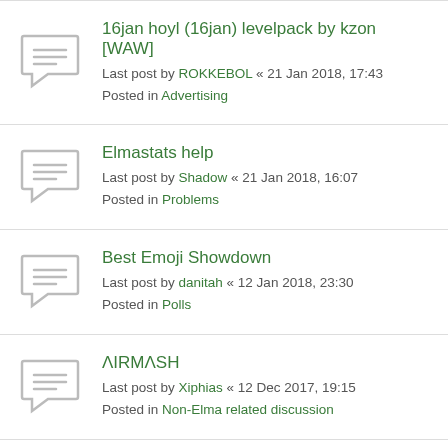16jan hoyl (16jan) levelpack by kzon [WAW]
Last post by ROKKEBOL « 21 Jan 2018, 17:43
Posted in Advertising
Elmastats help
Last post by Shadow « 21 Jan 2018, 16:07
Posted in Problems
Best Emoji Showdown
Last post by danitah « 12 Jan 2018, 23:30
Posted in Polls
ΛIRMΛSH
Last post by Xiphias « 12 Dec 2017, 19:15
Posted in Non-Elma related discussion
what do you think is good on lauta?